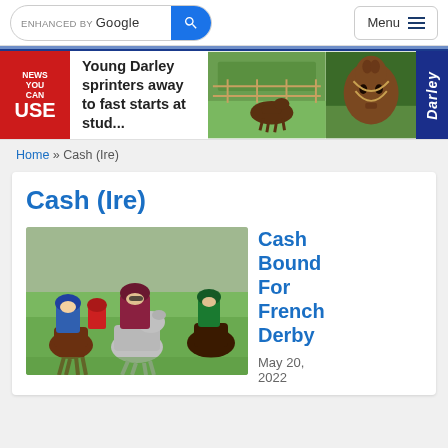ENHANCED BY Google [search] Menu
[Figure (photo): Darley advertisement banner: NEWS YOU CAN USE badge, headline 'Young Darley sprinters away to fast starts at stud...', with horse photos and Darley logo]
Home » Cash (Ire)
Cash (Ire)
[Figure (photo): Horse race photo showing jockeys and horses racing, with the lead horse ridden by a jockey in maroon/burgundy silks]
Cash Bound For French Derby
May 20, 2022